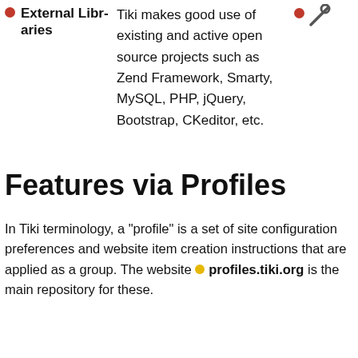External Libraries
Tiki makes good use of existing and active open source projects such as Zend Framework, Smarty, MySQL, PHP, jQuery, Bootstrap, CKeditor, etc.
Features via Profiles
In Tiki terminology, a "profile" is a set of site configuration preferences and website item creation instructions that are applied as a group. The website profiles.tiki.org is the main repository for these.